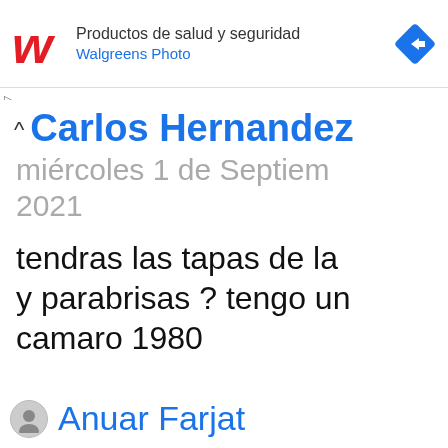[Figure (screenshot): Walgreens advertisement banner with red W logo, text 'Productos de salud y seguridad' and 'Walgreens Photo', and a blue diamond arrow icon on the right.]
Carlos Hernandez
miércoles 1 de Septiembre 2021
tendras las tapas de la y parabrisas ? tengo un camaro 1980
Anuar Farjat